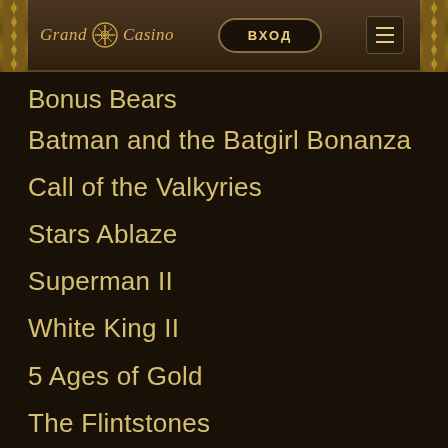Grand Casino | ВХОД | menu
Bonus Bears
Batman and the Batgirl Bonanza
Call of the Valkyries
Stars Ablaze
Superman II
White King II
5 Ages of Gold
The Flintstones